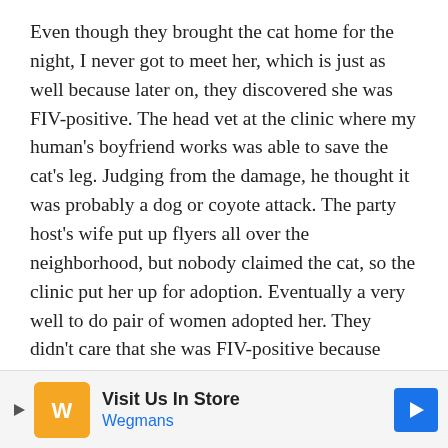Even though they brought the cat home for the night, I never got to meet her, which is just as well because later on, they discovered she was FIV-positive. The head vet at the clinic where my human's boyfriend works was able to save the cat's leg. Judging from the damage, he thought it was probably a dog or coyote attack. The party host's wife put up flyers all over the neighborhood, but nobody claimed the cat, so the clinic put her up for adoption. Eventually a very well to do pair of women adopted her. They didn't care that she was FIV-positive because they were still able to give her a good life. The funny thing is they
[Figure (other): Advertisement banner for Wegmans grocery store. Shows 'Visit Us In Store' text with Wegmans logo and a blue navigation arrow icon.]